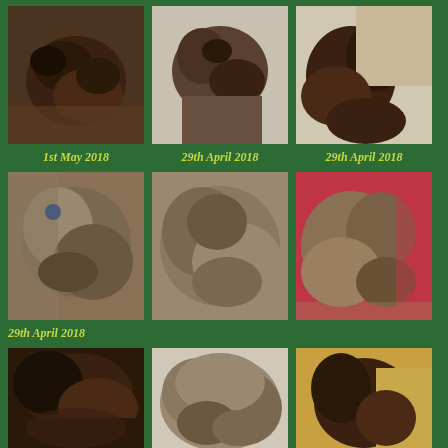[Figure (photo): Puppy curled up on fabric surface, brown/chocolate color, top-down view]
[Figure (photo): Puppy being held, close-up view of paws and face]
[Figure (photo): Brown puppy being held, side view close-up]
1st May 2018
29th April 2018
29th April 2018
[Figure (photo): Grey/blue puppy lying on wood floor with collar]
[Figure (photo): Grey puppies huddled together, close-up]
[Figure (photo): Multiple newborn puppies held on red/pink fabric]
29th April 2018
[Figure (photo): Person holding dark puppy, low angle selfie-style shot]
[Figure (photo): Group of grey/brown puppies piled together sleeping]
[Figure (photo): Brown puppy on yellow/orange surface, side view]
[Figure (photo): Puppy on dark surface, partial view]
[Figure (photo): Puppy in red/maroon setting]
[Figure (photo): Puppy legs/body close-up on light background]